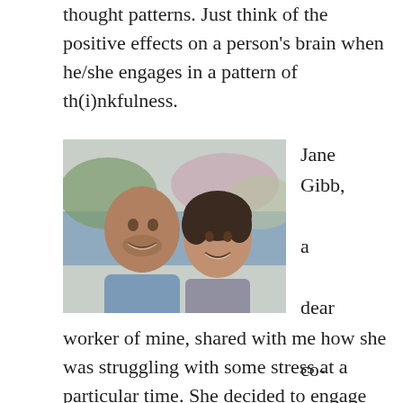thought patterns. Just think of the positive effects on a person's brain when he/she engages in a pattern of th(i)nkfulness.
[Figure (photo): A selfie photo of two smiling people (a man and a woman) outdoors near water with blossoming trees in the background.]
Jane Gibb, a dear co-
worker of mine, shared with me how she was struggling with some stress at a particular time. She decided to engage thinking thanks about that situation, and as she cultivated the thought